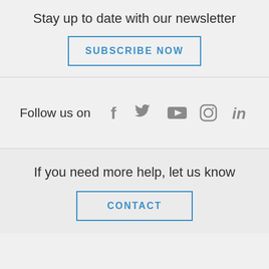Stay up to date with our newsletter
SUBSCRIBE NOW
[Figure (infographic): Social media icons row: Facebook, Twitter, YouTube, Instagram, LinkedIn with label 'Follow us on']
If you need more help, let us know
CONTACT